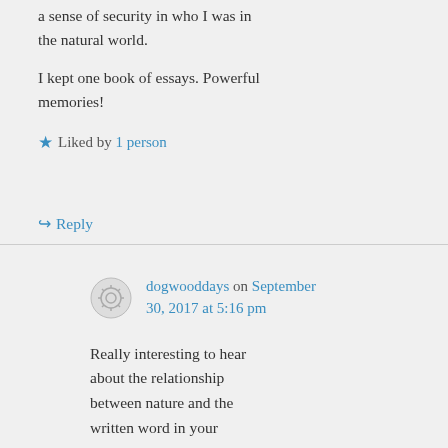a sense of security in who I was in the natural world.
I kept one book of essays. Powerful memories!
Liked by 1 person
Reply
dogwooddays on September 30, 2017 at 5:16 pm
Really interesting to hear about the relationship between nature and the written word in your childhood. Your written